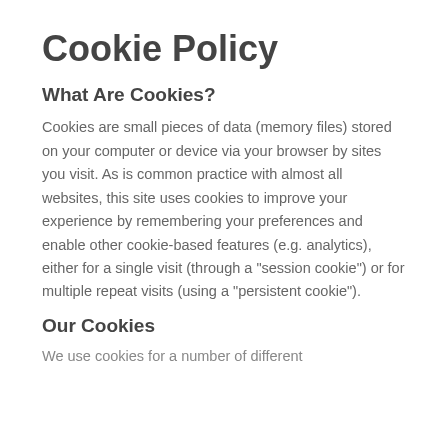Cookie Policy
What Are Cookies?
Cookies are small pieces of data (memory files) stored on your computer or device via your browser by sites you visit. As is common practice with almost all websites, this site uses cookies to improve your experience by remembering your preferences and enable other cookie-based features (e.g. analytics), either for a single visit (through a "session cookie") or for multiple repeat visits (using a "persistent cookie").
Our Cookies
We use cookies for a number of different